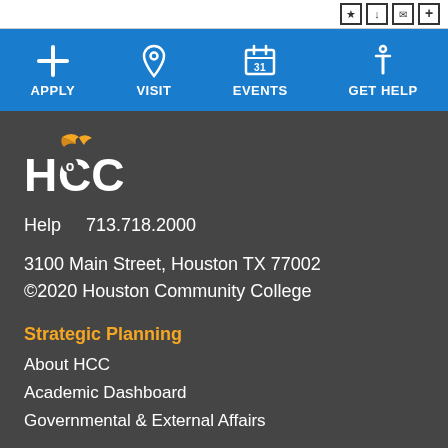top bar with icons
[Figure (infographic): Blue navigation bar with four items: APPLY (plus icon), VISIT (location pin icon), EVENTS (calendar icon with 31), GET HELP (info icon)]
[Figure (logo): HCC (Houston Community College) logo with gold bird above HCC text in white]
Help    713.718.2000
3100 Main Street, Houston TX 77002
©2020 Houston Community College
Strategic Planning
About HCC
Academic Dashboard
Governmental & External Affairs